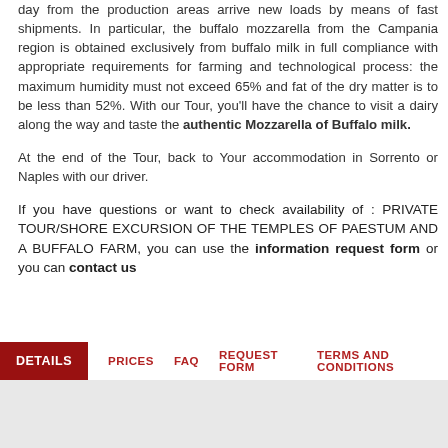day from the production areas arrive new loads by means of fast shipments. In particular, the buffalo mozzarella from the Campania region is obtained exclusively from buffalo milk in full compliance with appropriate requirements for farming and technological process: the maximum humidity must not exceed 65% and fat of the dry matter is to be less than 52%. With our Tour, you'll have the chance to visit a dairy along the way and taste the authentic Mozzarella of Buffalo milk.
At the end of the Tour, back to Your accommodation in Sorrento or Naples with our driver.
If you have questions or want to check availability of : PRIVATE TOUR/SHORE EXCURSION OF THE TEMPLES OF PAESTUM AND A BUFFALO FARM, you can use the information request form or you can contact us
DETAILS   PRICES   FAQ   REQUEST FORM   TERMS AND CONDITIONS